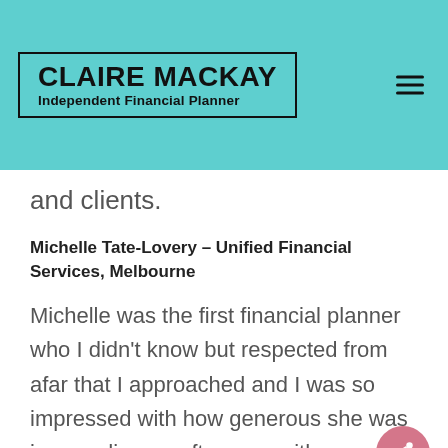CLAIRE MACKAY Independent Financial Planner
and clients.
Michelle Tate-Lovery – Unified Financial Services, Melbourne
Michelle was the first financial planner who I didn't know but respected from afar that I approached and I was so impressed with how generous she was in spending an afternoon with me.